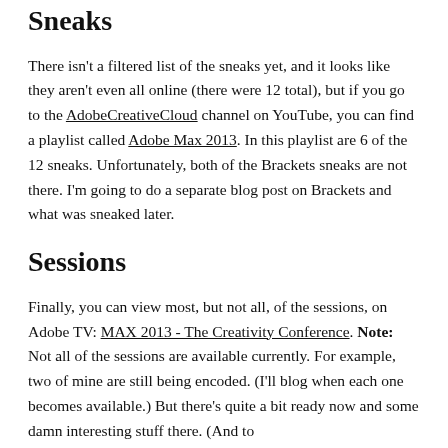Sneaks
There isn't a filtered list of the sneaks yet, and it looks like they aren't even all online (there were 12 total), but if you go to the AdobeCreativeCloud channel on YouTube, you can find a playlist called Adobe Max 2013. In this playlist are 6 of the 12 sneaks. Unfortunately, both of the Brackets sneaks are not there. I'm going to do a separate blog post on Brackets and what was sneaked later.
Sessions
Finally, you can view most, but not all, of the sessions, on Adobe TV: MAX 2013 - The Creativity Conference. Note: Not all of the sessions are available currently. For example, two of mine are still being encoded. (I'll blog when each one becomes available.) But there's quite a bit ready now and some damn interesting stuff there. (And to